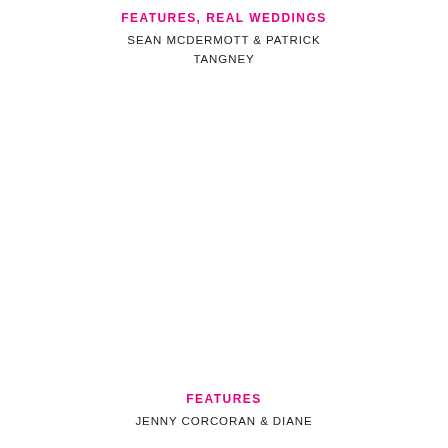FEATURES, REAL WEDDINGS
SEAN MCDERMOTT & PATRICK TANGNEY
FEATURES
JENNY CORCORAN & DIANE